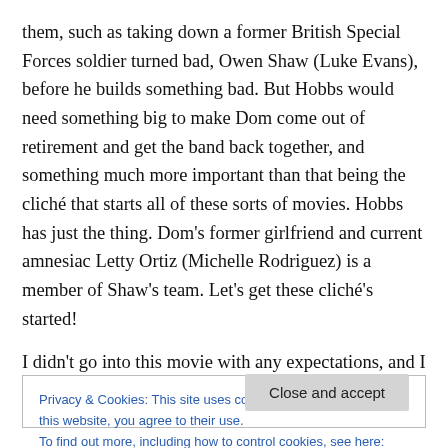them, such as taking down a former British Special Forces soldier turned bad, Owen Shaw (Luke Evans), before he builds something bad. But Hobbs would need something big to make Dom come out of retirement and get the band back together, and something much more important than that being the cliché that starts all of these sorts of movies. Hobbs has just the thing. Dom's former girlfriend and current amnesiac Letty Ortiz (Michelle Rodriguez) is a member of Shaw's team. Let's get these cliché's started!
I didn't go into this movie with any expectations, and I was
Privacy & Cookies: This site uses cookies. By continuing to use this website, you agree to their use.
To find out more, including how to control cookies, see here: Cookie Policy
Close and accept